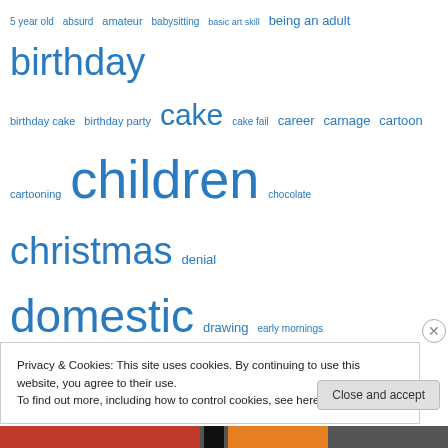[Figure (infographic): Tag cloud with words in varying sizes in blue color, representing blog/website tags. Words include: 5 year old, absurd, amateur, babysitting, basic art skill, being an adult, birthday, birthday cake, birthday party, cake, cake fail, career, carnage, cartoon, cartooning, children, chocolate, christmas, denial, domestic, drawing, early mornings, exhausted, family, fatigue, feet, food, gardening, good times, happiness, host, hot, house, housekeeping, housework, housework humor, humor, humour, joy, jumping, kids, kids parties, kids party, kitchen, labour, marriage, mayhem, mess, morning, motherhood, moving]
Privacy & Cookies: This site uses cookies. By continuing to use this website, you agree to their use.
To find out more, including how to control cookies, see here: Cookie Policy
Close and accept